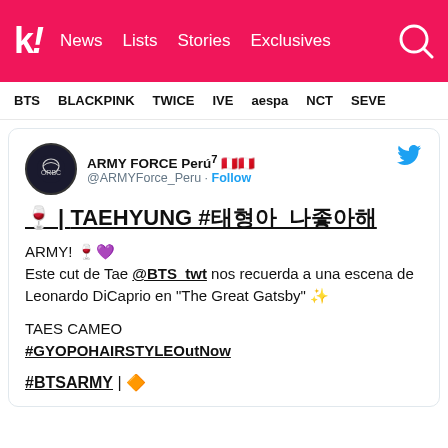kl! News Lists Stories Exclusives
BTS BLACKPINK TWICE IVE aespa NCT SEVE
ARMY FORCE Perú⁷ 🇵🇪🇵🇪 @ARMYForce_Peru · Follow
🍷 | TAEHYUNG #태형아_나좋아해
ARMY! 🍷💜
Este cut de Tae @BTS_twt nos recuerda a una escena de Leonardo DiCaprio en "The Great Gatsby" ✨
TAES CAMEO
#GYOPOHAIRSTYLEOutNow
#BTSARMY | 🔶